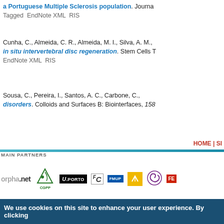a Portuguese Multiple Sclerosis population. Journal… Tagged EndNote XML RIS
Cunha, C., Almeida, C. R., Almeida, M. I., Silva, A. M., … in situ intervertebral disc regeneration. Stem Cells T… EndNote XML RIS
Sousa, C., Pereira, I., Santos, A. C., Carbone, C., … disorders. Colloids and Surfaces B: Biointerfaces, 158…
HOME | SI…
MAIN PARTNERS
[Figure (logo): Row of partner logos: orphanet, CGPP, U.PORTO, FC, FMUP, yellow logo, spiral logo, FE]
We use cookies on this site to enhance your user experience. By clicking